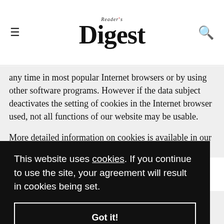Reader's Digest
any time in most popular Internet browsers or by using other software programs. However if the data subject deactivates the setting of cookies in the Internet browser used, not all functions of our website may be usable.
More detailed information on cookies is available in our Cookie Policy.
This website uses cookies. If you continue to use the site, your agreement will result in cookies being set.
Got it!
ta and g, including the sharing of promotional offers, and to update